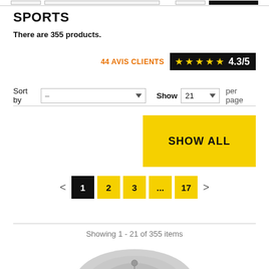SPORTS
There are 355 products.
44 AVIS CLIENTS  ★★★★★ 4.3/5
Sort by  –  Show 21 per page
SHOW ALL
< 1 2 3 ... 17 >
Showing 1 - 21 of 355 items
[Figure (photo): Partial view of a sports product (appears to be clothing/jersey) in grayscale at bottom of page]